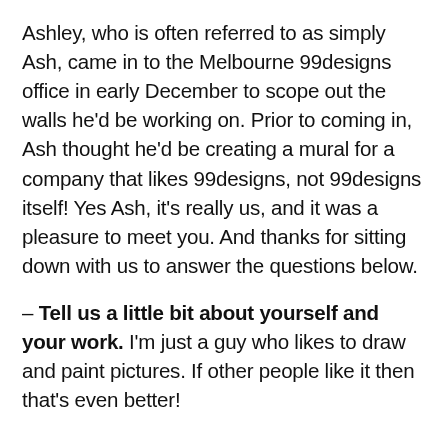Ashley, who is often referred to as simply Ash, came in to the Melbourne 99designs office in early December to scope out the walls he'd be working on. Prior to coming in, Ash thought he'd be creating a mural for a company that likes 99designs, not 99designs itself! Yes Ash, it's really us, and it was a pleasure to meet you. And thanks for sitting down with us to answer the questions below.
– Tell us a little bit about yourself and your work. I'm just a guy who likes to draw and paint pictures. If other people like it then that's even better!